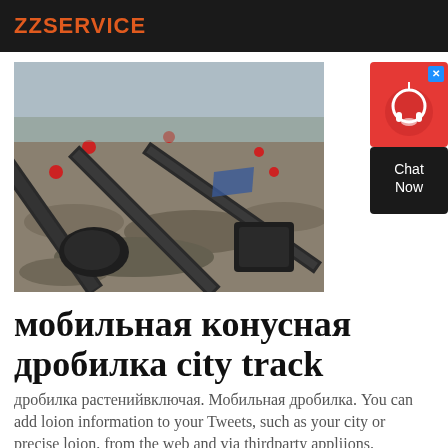ZZSERVICE
[Figure (photo): Industrial mobile cone crusher with conveyor belts on a gravel/stone site, outdoor industrial setting]
[Figure (other): Chat Now widget with red background and headset icon]
мобильная конусная дробилка city track
дробилка растенийвключая. Мобильная дробилка. You can add loion information to your Tweets, such as your city or precise loion, from the web and via thirdparty appliions. дробилка конусная sc 300 купить дунгуань шарп чпу сотрудничества ооо